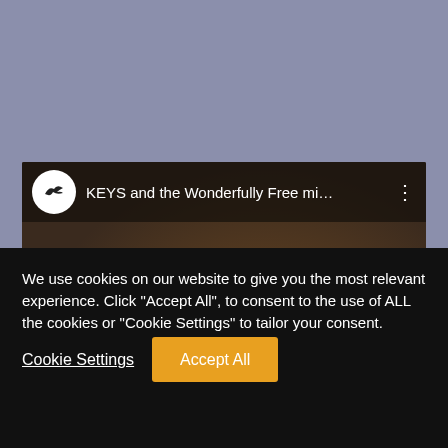[Figure (screenshot): A website screenshot showing a video thumbnail. The video is titled 'KEYS and the Wonderfully Free mi...' with a channel icon (bird silhouette in white circle) on the left and a three-dot menu on the right. The thumbnail shows the top of a person's head with brown hair. Below is a black cookie consent banner with text and two buttons.]
We use cookies on our website to give you the most relevant experience. Click "Accept All", to consent to the use of ALL the cookies or "Cookie Settings" to tailor your consent.
Cookie Settings
Accept All